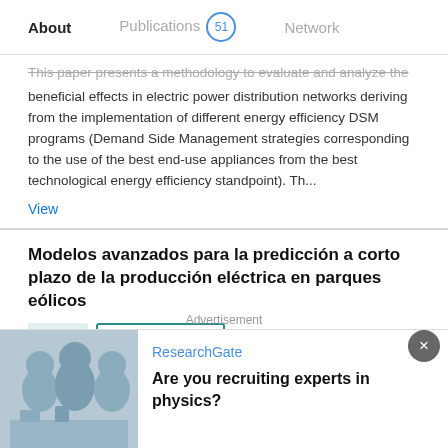About   Publications 51   Network
This paper presents a methodology to evaluate and analyze the beneficial effects in electric power distribution networks deriving from the implementation of different energy efficiency DSM programs (Demand Side Management strategies corresponding to the use of the best end-use appliances from the best technological energy efficiency standpoint). Th...
View
Modelos avanzados para la predicción a corto plazo de la producción eléctrica en parques eólicos
Article   Full-text available
Jan 2007
Luis Alfredo Fernandez-Jimenez
La integración de la energía producida en los parques eólicos en los sistemas eléctricos (el 9% de la energía eléctrica
Advertisement
ResearchGate
Are you recruiting experts in physics?